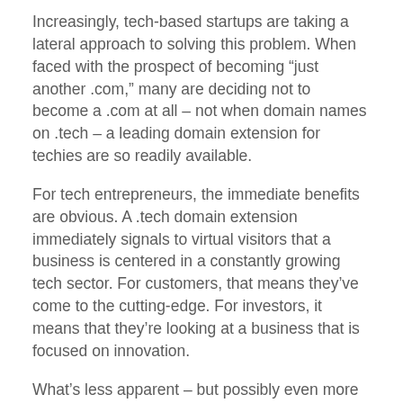Increasingly, tech-based startups are taking a lateral approach to solving this problem. When faced with the prospect of becoming “just another .com,” many are deciding not to become a .com at all – not when domain names on .tech – a leading domain extension for techies are so readily available.
For tech entrepreneurs, the immediate benefits are obvious. A .tech domain extension immediately signals to virtual visitors that a business is centered in a constantly growing tech sector. For customers, that means they’ve come to the cutting-edge. For investors, it means that they’re looking at a business that is focused on innovation.
What’s less apparent – but possibly even more important – is the reset it gives to tech-based companies in a competitive marketplace. For the moment at least, .tech domain extension is new, and that means original domain names are available and plentiful.